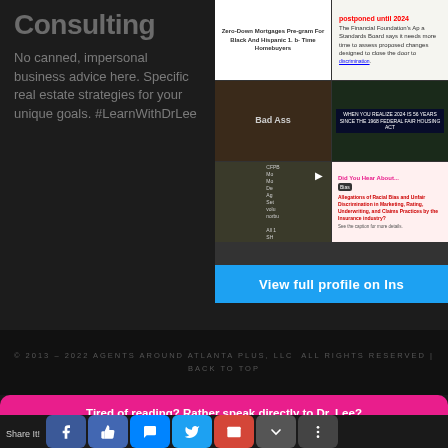Consulting
No canned, impersonal business advice here. Specific real estate strategies for your unique goals. #LearnWithDrLee
[Figure (screenshot): Instagram grid showing multiple posts about real estate, fair housing, racial bias in insurance, and a zero-down mortgage program for Black and Hispanic first-time homebuyers.]
View full profile on Ins
© 2013 – 2022 AGENTS AROUND ATLANTA PLUS, LLC  ALL RIGHTS RESERVED | BACK TO TOP
Tired of reading? Rather speak directly to Dr. Lee? CLICK HERE
Share It!